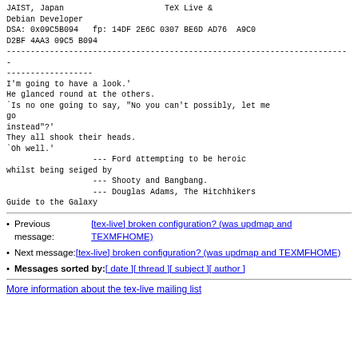JAIST, Japan                          TeX Live &
Debian Developer
DSA: 0x09C5B094   fp: 14DF 2E6C 0307 BE6D AD76  A9C0
D2BF 4AA3 09C5 B094
------------------------------------------------------------------------
I'm going to have a look.'
He glanced round at the others.
`Is no one going to say, "No you can't possibly, let me go
instead"?'
They all shook their heads.
`Oh well.'
                  --- Ford attempting to be heroic whilst being seiged by
                  --- Shooty and Bangbang.
                  --- Douglas Adams, The Hitchhikers Guide to the Galaxy
Previous message: [tex-live] broken configuration? (was updmap and TEXMFHOME)
Next message: [tex-live] broken configuration? (was updmap and TEXMFHOME)
Messages sorted by: [ date ] [ thread ] [ subject ] [ author ]
More information about the tex-live mailing list